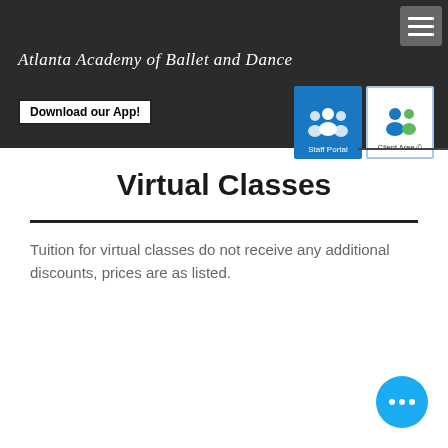[Figure (screenshot): Website header/navigation bar for Atlanta Academy of Ballet and Dance with dark background, hamburger menu, site title in italic serif font, Download our App button, Staff Portal icon button (blue), and Client Area icon button (white/blue border)]
Virtual Classes
Tuition for virtual classes do not receive any additional discounts, prices are as listed.